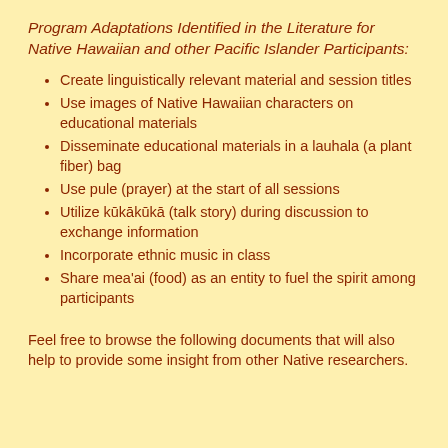Program Adaptations Identified in the Literature for Native Hawaiian and other Pacific Islander Participants:
Create linguistically relevant material and session titles
Use images of Native Hawaiian characters on educational materials
Disseminate educational materials in a lauhala (a plant fiber) bag
Use pule (prayer) at the start of all sessions
Utilize kūkākūkā (talk story) during discussion to exchange information
Incorporate ethnic music in class
Share mea'ai (food) as an entity to fuel the spirit among participants
Feel free to browse the following documents that will also help to provide some insight from other Native researchers.